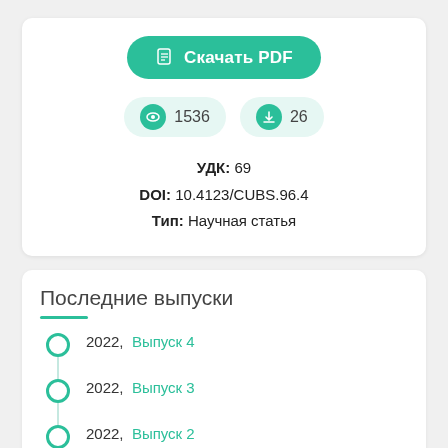[Figure (screenshot): Green pill-shaped button with PDF icon and text 'Скачать PDF']
1536  26
УДК: 69
DOI: 10.4123/CUBS.96.4
Тип: Научная статья
Последние выпуски
2022,  Выпуск 4
2022,  Выпуск 3
2022,  Выпуск 2
2022,  Выпуск 1